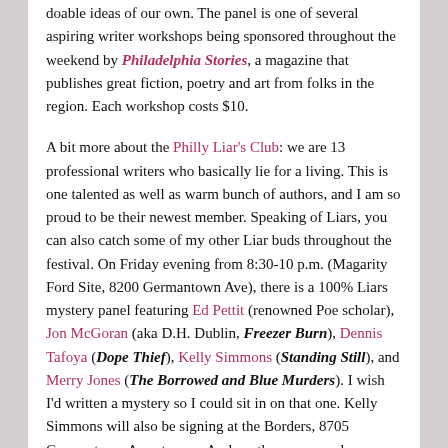doable ideas of our own. The panel is one of several aspiring writer workshops being sponsored throughout the weekend by Philadelphia Stories, a magazine that publishes great fiction, poetry and art from folks in the region. Each workshop costs $10.

A bit more about the Philly Liar's Club: we are 13 professional writers who basically lie for a living. This is one talented as well as warm bunch of authors, and I am so proud to be their newest member. Speaking of Liars, you can also catch some of my other Liar buds throughout the festival. On Friday evening from 8:30-10 p.m. (Magarity Ford Site, 8200 Germantown Ave), there is a 100% Liars mystery panel featuring Ed Pettit (renowned Poe scholar), Jon McGoran (aka D.H. Dublin, Freezer Burn), Dennis Tafoya (Dope Thief), Kelly Simmons (Standing Still), and Merry Jones (The Borrowed and Blue Murders). I wish I'd written a mystery so I could sit in on that one. Kelly Simmons will also be signing at the Borders, 8705 Germantown Ave at noon. And another warm and wonderful Liar, paranormal novelist L.A. Banks (author of the 12 book series on Minion: A Vampiro